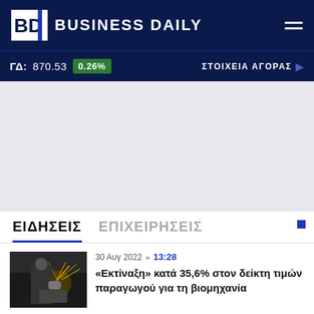BD BUSINESS DAILY
ΓΔ: 870.53  0.26%  ΣΤΟΙΧΕΙΑ ΑΓΟΡΑΣ
[Figure (photo): Gray advertisement/blank area placeholder]
ΕΙΔΗΣΕΙΣ  ΕΠΙΧΕΙΡΗΣΕΙΣ
[Figure (photo): Industrial worker with sparks flying, thumbnail image for news article]
30 Αυγ 2022 » 13:28
«Εκτίναξη» κατά 35,6% στον δείκτη τιμών παραγωγού για τη βιομηχανία